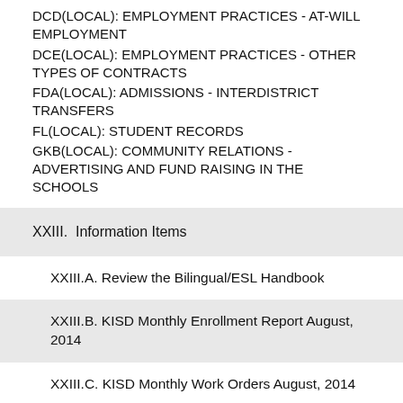DCD(LOCAL): EMPLOYMENT PRACTICES - AT-WILL EMPLOYMENT
DCE(LOCAL): EMPLOYMENT PRACTICES - OTHER TYPES OF CONTRACTS
FDA(LOCAL): ADMISSIONS - INTERDISTRICT TRANSFERS
FL(LOCAL): STUDENT RECORDS
GKB(LOCAL): COMMUNITY RELATIONS - ADVERTISING AND FUND RAISING IN THE SCHOOLS
XXIII.  Information Items
XXIII.A. Review the Bilingual/ESL Handbook
XXIII.B. KISD Monthly Enrollment Report August, 2014
XXIII.C. KISD Monthly Work Orders August, 2014